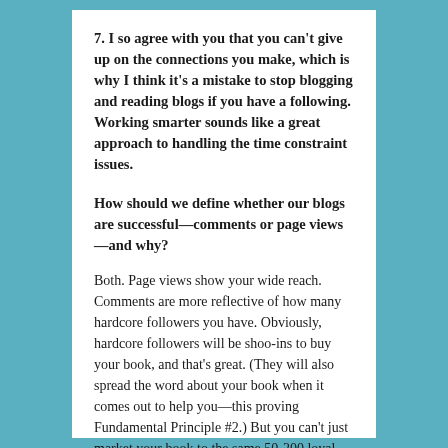7.  I so agree with you that you can't give up on the connections you make, which is why I think it's a mistake to stop blogging and reading blogs if you have a following. Working smarter sounds like a great approach to handling the time constraint issues.
How should we define whether our blogs are successful—comments or page views—and why?
Both. Page views show your wide reach. Comments are more reflective of how many hardcore followers you have. Obviously, hardcore followers will be shoo-ins to buy your book, and that's great. (They will also spread the word about your book when it comes out to help you—this proving Fundamental Principle #2.) But you can't just market your book to the same 50-200 loyal readers. You've got to meet new readers and show up on Google searches. That kind of success is reflective in growing page views.